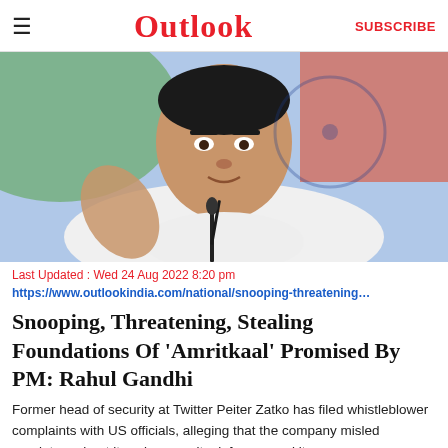☰  Outlook  SUBSCRIBE
[Figure (photo): Rahul Gandhi speaking at a press conference with microphones in front of him, hand raised gesturing, wearing a white shirt, with a green, white and red background.]
Last Updated : Wed 24 Aug 2022 8:20 pm
https://www.outlookindia.com/national/snooping-threatening…
Snooping, Threatening, Stealing Foundations Of 'Amritkaal' Promised By PM: Rahul Gandhi
Former head of security at Twitter Peiter Zatko has filed whistleblower complaints with US officials, alleging that the company misled regulators about its cybersecurity defences and its